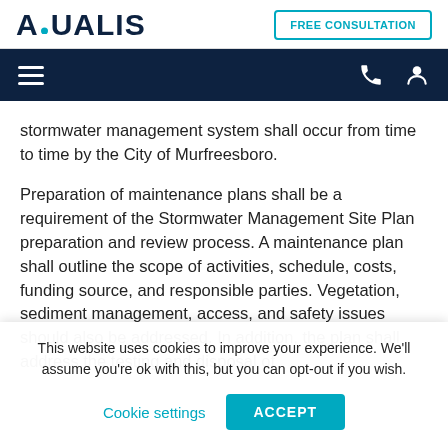AQUALIS | FREE CONSULTATION
stormwater management system shall occur from time to time by the City of Murfreesboro.
Preparation of maintenance plans shall be a requirement of the Stormwater Management Site Plan preparation and review process. A maintenance plan shall outline the scope of activities, schedule, costs, funding source, and responsible parties. Vegetation, sediment management, access, and safety issues should also be addressed. In addition, the plan shall address the testing and disposal of
This website uses cookies to improve your experience. We'll assume you're ok with this, but you can opt-out if you wish.
Cookie settings   ACCEPT